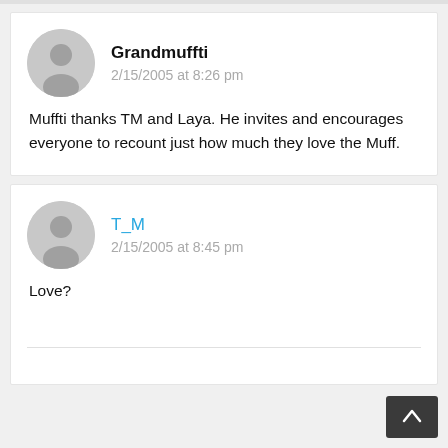Grandmuffti
2/15/2005 at 8:26 pm
Muffti thanks TM and Laya. He invites and encourages everyone to recount just how much they love the Muff.
T_M
2/15/2005 at 8:45 pm
Love?